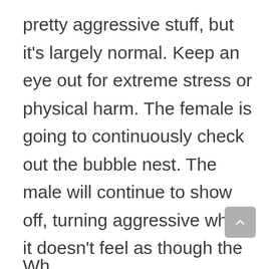pretty aggressive stuff, but it's largely normal. Keep an eye out for extreme stress or physical harm. The female is going to continuously check out the bubble nest. The male will continue to show off, turning aggressive when it doesn't feel as though the female is responding properly.